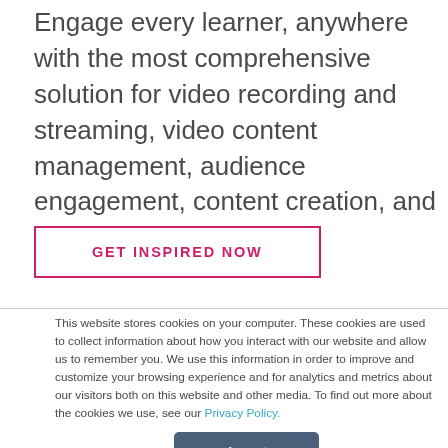Engage every learner, anywhere with the most comprehensive solution for video recording and streaming, video content management, audience engagement, content creation, and assessments.
GET INSPIRED NOW
This website stores cookies on your computer. These cookies are used to collect information about how you interact with our website and allow us to remember you. We use this information in order to improve and customize your browsing experience and for analytics and metrics about our visitors both on this website and other media. To find out more about the cookies we use, see our Privacy Policy.
Accept